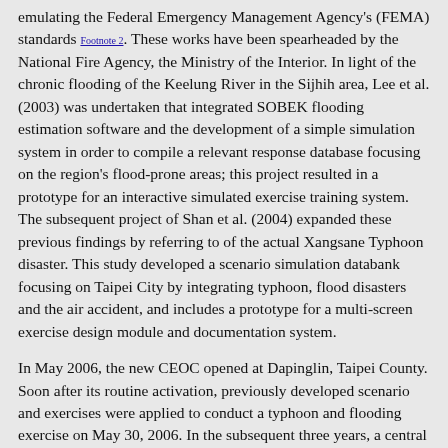emulating the Federal Emergency Management Agency's (FEMA) standards [Footnote 2]. These works have been spearheaded by the National Fire Agency, the Ministry of the Interior. In light of the chronic flooding of the Keelung River in the Sijhih area, Lee et al. (2003) was undertaken that integrated SOBEK flooding estimation software and the development of a simple simulation system in order to compile a relevant response database focusing on the region's flood-prone areas; this project resulted in a prototype for an interactive simulated exercise training system. The subsequent project of Shan et al. (2004) expanded these previous findings by referring to of the actual Xangsane Typhoon disaster. This study developed a scenario simulation databank focusing on Taipei City by integrating typhoon, flood disasters and the air accident, and includes a prototype for a multi-screen exercise design module and documentation system.
In May 2006, the new CEOC opened at Dapinglin, Taipei County. Soon after its routine activation, previously developed scenario and exercises were applied to conduct a typhoon and flooding exercise on May 30, 2006. In the subsequent three years, a central -government-conducted earthquake disaster management exercise were conducted respectively focusing on Taiwan's southern and eastern regions (2006), central Taiwan (2007), and northern region (2008) on the September 21st National Disaster Prevention Day (also known as 921 National Disaster Prevention Day). Since